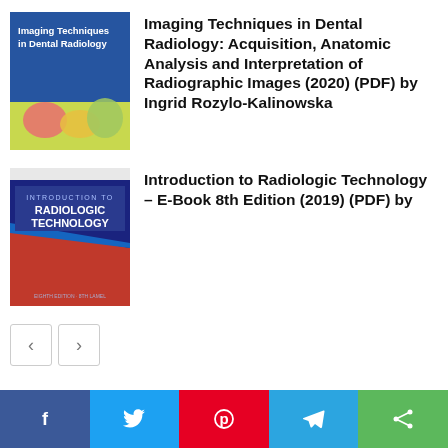[Figure (illustration): Book cover of 'Imaging Techniques in Dental Radiology' with blue background and dental X-ray image]
Imaging Techniques in Dental Radiology: Acquisition, Anatomic Analysis and Interpretation of Radiographic Images (2020) (PDF) by Ingrid Rozylo-Kalinowska
[Figure (illustration): Book cover of 'Introduction to Radiologic Technology' with dark blue and red design]
Introduction to Radiologic Technology – E-Book 8th Edition (2019) (PDF) by